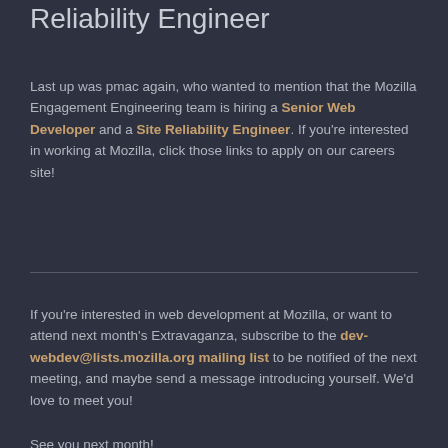Reliability Engineer
Last up was pmac again, who wanted to mention that the Mozilla Engagement Engineering team is hiring a Senior Web Developer and a Site Reliability Engineer. If you're interested in working at Mozilla, click those links to apply on our careers site!
If you're interested in web development at Mozilla, or want to attend next month's Extravaganza, subscribe to the dev-webdev@lists.mozilla.org mailing list to be notified of the next meeting, and maybe send a message introducing yourself. We'd love to meet you!
See you next month!